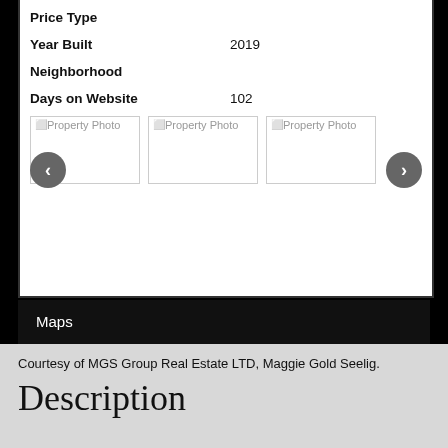Price Type
Year Built    2019
Neighborhood
Days on Website    102
[Figure (photo): Three property photo placeholders with previous and next navigation buttons]
Maps
Courtesy of MGS Group Real Estate LTD, Maggie Gold Seelig.
Description